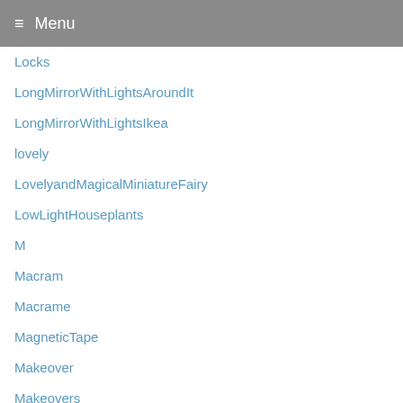Menu
Locks
LongMirrorWithLightsAroundIt
LongMirrorWithLightsIkea
lovely
LovelyandMagicalMiniatureFairy
LowLightHouseplants
M
Macram
Macrame
MagneticTape
Makeover
Makeovers
MakingTheGrandchildrensFlowerGarden
Marijuana
MarisaMaino
Marvel
MaxPorter